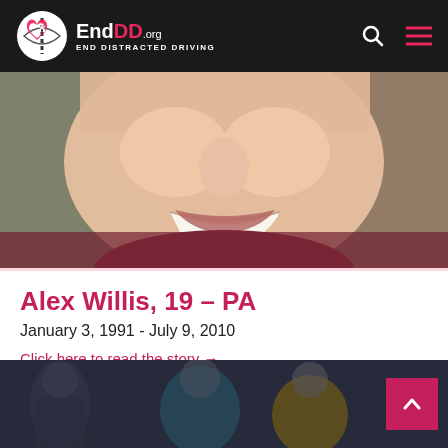EndDD.org – End Distracted Driving
[Figure (photo): Close-up photo of a smiling young man, cropped to show lower face and smile]
Alex Willis, 19 – PA
January 3, 1991 - July 9, 2010
Click here to read the story →
[Figure (photo): Partial photo strip at the bottom showing group of people outdoors]